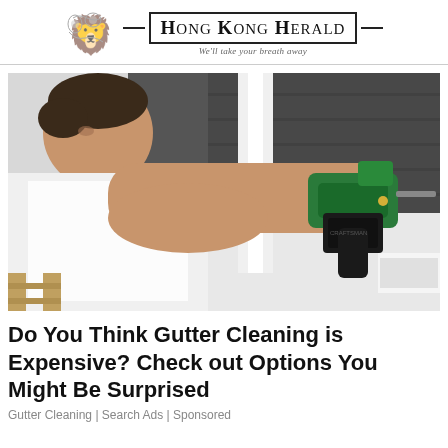Hong Kong Herald — We'll take your breath away
[Figure (photo): A man in a white t-shirt leaning over a rooftop gutter, using a green and black cordless drill to install or secure gutter hardware. A dark asphalt shingle roof is visible in the background.]
Do You Think Gutter Cleaning is Expensive? Check out Options You Might Be Surprised
Gutter Cleaning | Search Ads | Sponsored